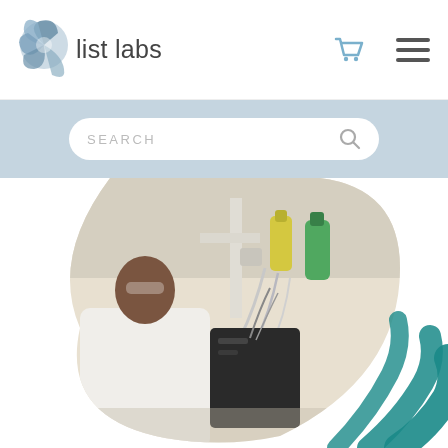[Figure (logo): List Labs logo with spinning globe/fan icon and 'list labs' wordmark in grey sans-serif]
[Figure (screenshot): Search bar with rounded rectangle input on blue-grey background with magnifying glass icon]
[Figure (photo): Lab worker in white coat and gloves working at computer monitors with lab equipment (tubes, bottles) in background, photo clipped to irregular shape with teal logo mark overlay]